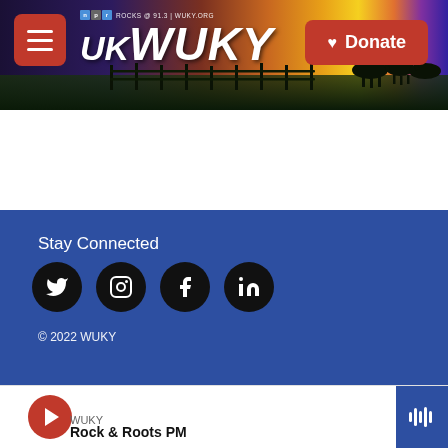[Figure (screenshot): WUKY NPR radio station website header banner with logo, menu button, donate button, and landscape background with sunset sky]
Stay Connected
[Figure (infographic): Social media icons row: Twitter, Instagram, Facebook, LinkedIn — black circles with white icons]
© 2022 WUKY
WUKY
Rock & Roots PM